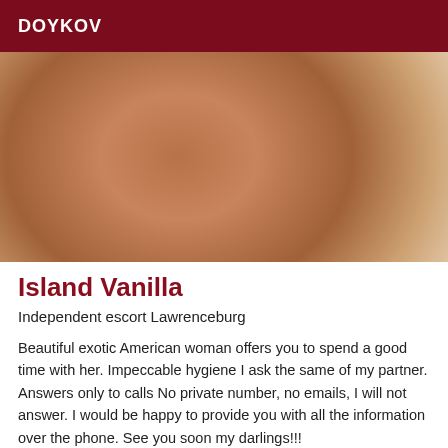DOYKOV
[Figure (photo): Close-up photo of a person's torso/skin, warm brown tones against a light background.]
Island Vanilla
Independent escort Lawrenceburg
Beautiful exotic American woman offers you to spend a good time with her. Impeccable hygiene I ask the same of my partner. Answers only to calls No private number, no emails, I will not answer. I would be happy to provide you with all the information over the phone. See you soon my darlings!!!